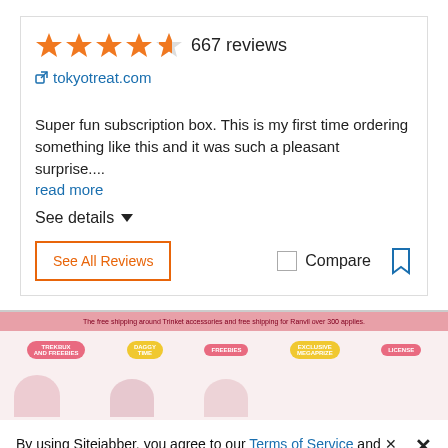[Figure (other): Star rating showing approximately 4.5 out of 5 stars (5 orange star icons, last one partially filled) followed by '667 reviews' text]
tokyotreat.com
Super fun subscription box. This is my first time ordering something like this and it was such a pleasant surprise....
read more
See details ▼
See All Reviews
Compare
[Figure (screenshot): Partial screenshot of tokyotreat.com website showing a pink banner with text about free shipping and colorful category pills (TREKBUX AND FREEBIES, DAGGY TIME, FREEBIES, EXCLUSIVE MEGAPRIZE, LICENSE) and cartoon character illustrations]
By using Sitejabber, you agree to our Terms of Service and Privacy Policy. We use cookies for analytics, personalization, and ads.